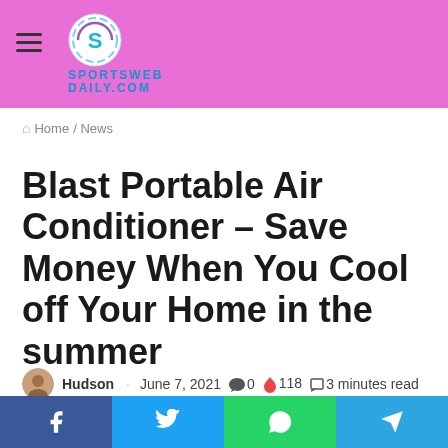SportswwebDaily.com
Home / News
Blast Portable Air Conditioner – Save Money When You Cool off Your Home in the summer
Hudson · June 7, 2021 💬 0 🔥 118 📖 3 minutes read